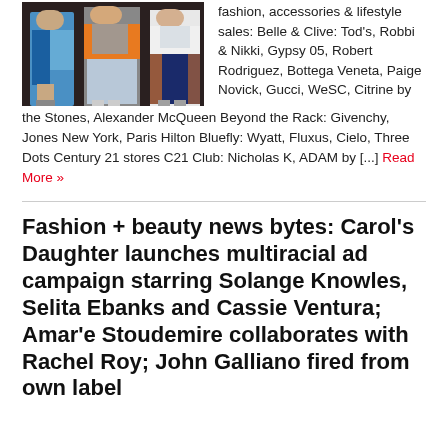[Figure (photo): Fashion runway photo showing three models walking: one in blue draped outfit, one in orange jacket with grey top, one in white and navy ensemble]
fashion, accessories & lifestyle sales: Belle & Clive: Tod's, Robbi & Nikki, Gypsy 05, Robert Rodriguez, Bottega Veneta, Paige Novick, Gucci, WeSC, Citrine by the Stones, Alexander McQueen Beyond the Rack: Givenchy, Jones New York, Paris Hilton Bluefly: Wyatt, Fluxus, Cielo, Three Dots Century 21 stores C21 Club: Nicholas K, ADAM by [...] Read More »
Fashion + beauty news bytes: Carol's Daughter launches multiracial ad campaign starring Solange Knowles, Selita Ebanks and Cassie Ventura; Amar'e Stoudemire collaborates with Rachel Roy; John Galliano fired from own label